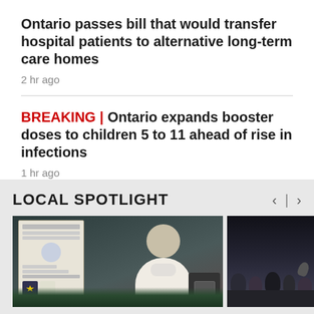Ontario passes bill that would transfer hospital patients to alternative long-term care homes
2 hr ago
BREAKING | Ontario expands booster doses to children 5 to 11 ahead of rise in infections
1 hr ago
LOCAL SPOTLIGHT
[Figure (photo): A person in a white lab coat standing near a display board with various items in what appears to be a science or demonstration setting]
[Figure (photo): A crowd of people at what appears to be a public event or concert, some with raised hands]